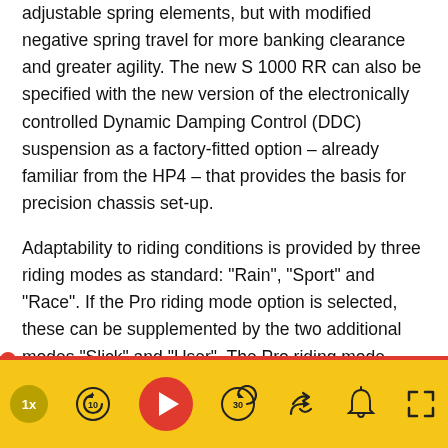adjustable spring elements, but with modified negative spring travel for more banking clearance and greater agility. The new S 1000 RR can also be specified with the new version of the electronically controlled Dynamic Damping Control (DDC) suspension as a factory-fitted option – already familiar from the HP4 – that provides the basis for precision chassis set-up.

Adaptability to riding conditions is provided by three riding modes as standard: "Rain", "Sport" and "Race". If the Pro riding mode option is selected, these can be supplemented by the two additional modes "Slick" and "User". The Pro riding mode option also features Launch Control for optimized racing starts as well as the programmable pit-lane speed limiter. The optional HP Gear Shift Assist Pro enables
[Figure (other): Media player control bar with yellow background. Contains: speed indicator (1x), rewind 10s button, red play button, forward 30s button, share button, notification bell button, and fullscreen expand button.]